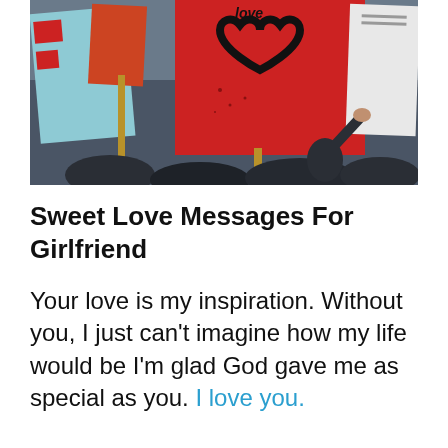[Figure (photo): Outdoor crowd scene with people holding signs on wooden sticks. A prominent red sign with a black heart outline and the word 'love' is visible in the center. Other signs, including a light blue one, are partially visible. A person is seen from behind raising their hand.]
Sweet Love Messages For Girlfriend
Your love is my inspiration. Without you, I just can't imagine how my life would be I'm glad God gave me as special as you. I love you.